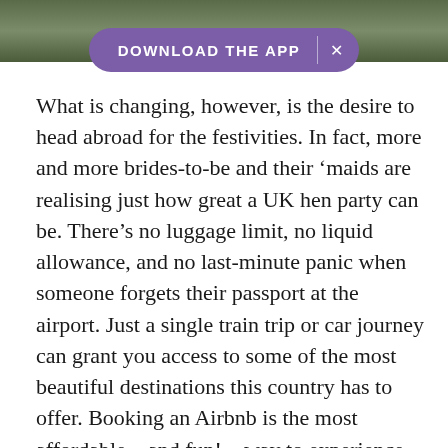[Figure (photo): Outdoor photo strip at top of page, appears to show a green landscape or garden scene]
DOWNLOAD THE APP  ×
What is changing, however, is the desire to head abroad for the festivities. In fact, more and more brides-to-be and their 'maids are realising just how great a UK hen party can be. There's no luggage limit, no liquid allowance, and no last-minute panic when someone forgets their passport at the airport. Just a single train trip or car journey can grant you access to some of the most beautiful destinations this country has to offer. Booking an Airbnb is the most affordable – and fun! – way to experience them firsthand.
Whether you dream of hot tubs in the forest, glamping in the countryside or a city break with all of the mod cons (and access to the coolest bars, of course), these are the best UK Airbnbs for a hen